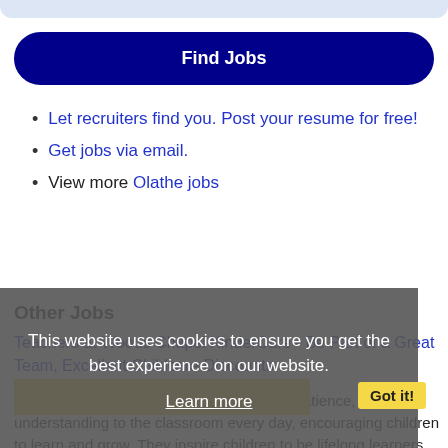[Figure (other): Top gray rounded bar at top of page]
Find Jobs
Let recruiters find you. Post your resume for free!
Get jobs via email.
View more Olathe jobs
Other Jobs
This website uses cookies to ensure you get the best experience on our website. Learn more
Got it!
Teachers at Woods Chapel KinderCare - Be Part of a Great Team, Excellent Childcare Discounts
Description: Our Teachers bring warmth, patience, and understanding to the classroom every day, encouraging children to learn and grow. They inspire children to be lifelong learners using